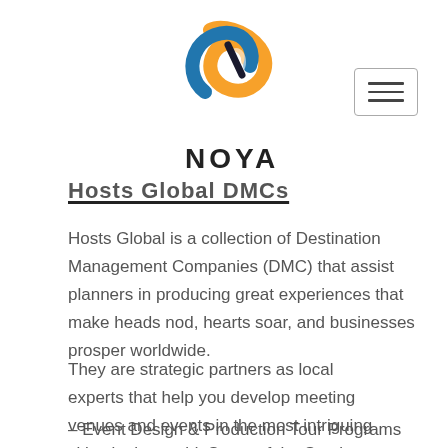NOYA
Hosts Global DMCs
Hosts Global is a collection of Destination Management Companies (DMC) that assist planners in producing great experiences that make heads nod, hearts soar, and businesses prosper worldwide.
They are strategic partners as local experts that help you develop meeting venues and events in the most intriguing cities in the world. Some of the Services that Hosts Global's DMCs include
– Event Design & Production Tour Programs